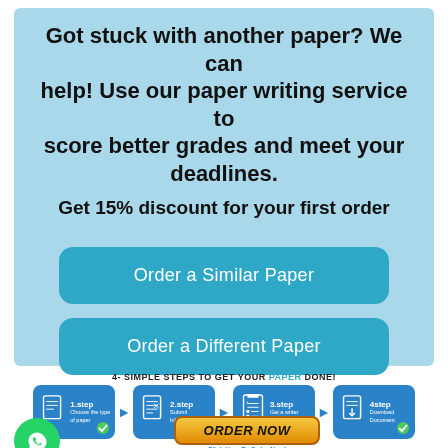Got stuck with another paper? We can help! Use our paper writing service to score better grades and meet your deadlines.
Get 15% discount for your first order
Order a Similar Paper
Order a Different Paper
[Figure (infographic): 4 simple steps to get your paper done: 1.step Choose the type of paper, 2.step Submit Information, 3.step Get a writer Assigned, 4.step Download Document. Steps shown as blue boxes with icons and arrows between them, each with a green checkmark.]
[Figure (infographic): WhatsApp green circle icon on the left; ORDER NOW yellow/orange button in center with 'Click Here To Order Now!' below it and payment icons.]